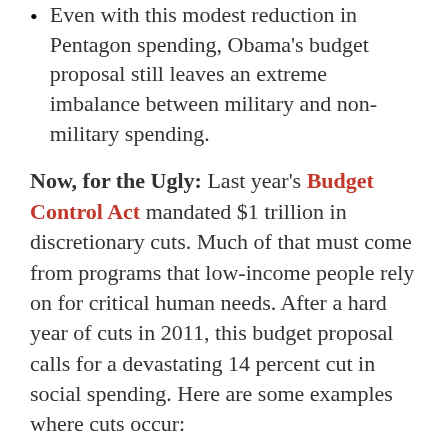Even with this modest reduction in Pentagon spending, Obama's budget proposal still leaves an extreme imbalance between military and non-military spending.
Now, for the Ugly: Last year's Budget Control Act mandated $1 trillion in discretionary cuts. Much of that must come from programs that low-income people rely on for critical human needs. After a hard year of cuts in 2011, this budget proposal calls for a devastating 14 percent cut in social spending. Here are some examples where cuts occur:
Health care services, career opportunities